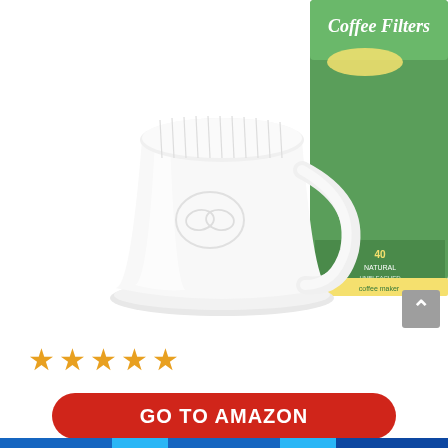[Figure (photo): A white ceramic pour-over coffee dripper with a handle and ridged interior, sitting on a saucer base. Behind it is a green and white box of Coffee Filters labeled '40 Natural Unbleached'. The background is white.]
[Figure (infographic): Five gold/orange star rating icons indicating a 5-star product rating.]
GO TO AMAZON